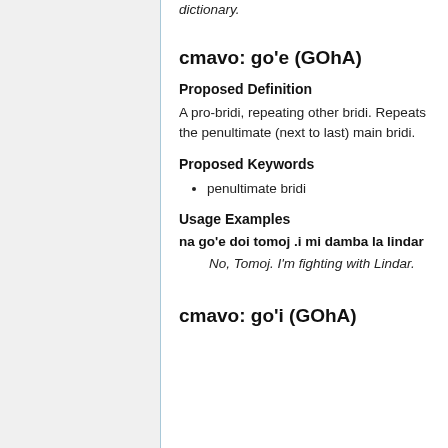dictionary.
cmavo: go'e (GOhA)
Proposed Definition
A pro-bridi, repeating other bridi. Repeats the penultimate (next to last) main bridi.
Proposed Keywords
penultimate bridi
Usage Examples
na go'e doi tomoj .i mi damba la lindar
No, Tomoj. I'm fighting with Lindar.
cmavo: go'i (GOhA)